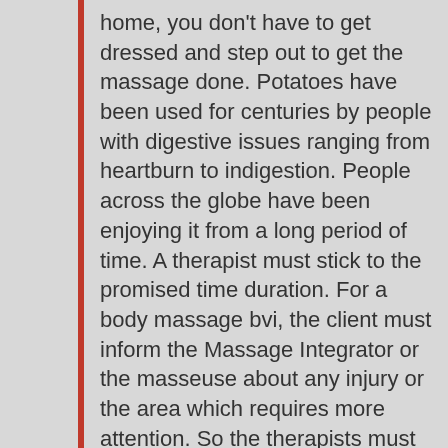home, you don't have to get dressed and step out to get the massage done. Potatoes have been used for centuries by people with digestive issues ranging from heartburn to indigestion. People across the globe have been enjoying it from a long period of time. A therapist must stick to the promised time duration. For a body massage bvi, the client must inform the Massage Integrator or the masseuse about any injury or the area which requires more attention. So the therapists must be physically firm.Nowadays, you can see massage therapists in America conducting a Japanese Shiatsu or other therapies that are not locally developed. Try to learn about the massage by talking to therapists. The SPA therapists, normally combined with different massage techniques , such as deep tissue, aromatherapy, hot stone or any other massage techniques. In the event that